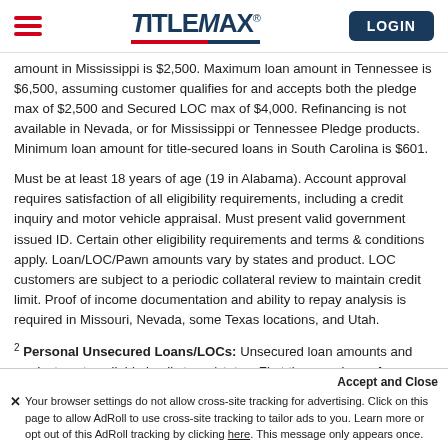TitleMax - LOGIN
amount in Mississippi is $2,500. Maximum loan amount in Tennessee is $6,500, assuming customer qualifies for and accepts both the pledge max of $2,500 and Secured LOC max of $4,000. Refinancing is not available in Nevada, or for Mississippi or Tennessee Pledge products. Minimum loan amount for title-secured loans in South Carolina is $601.
Must be at least 18 years of age (19 in Alabama). Account approval requires satisfaction of all eligibility requirements, including a credit inquiry and motor vehicle appraisal. Must present valid government issued ID. Certain other eligibility requirements and terms & conditions apply. Loan/LOC/Pawn amounts vary by states and product. LOC customers are subject to a periodic collateral review to maintain credit limit. Proof of income documentation and ability to repay analysis is required in Missouri, Nevada, some Texas locations, and Utah.
2 Personal Unsecured Loans/LOCs: Unsecured loan amounts and products not available in all stores/states. First time maximum for new personal loan
Accept and Close
✕ Your browser settings do not allow cross-site tracking for advertising. Click on this page to allow AdRoll to use cross-site tracking to tailor ads to you. Learn more or opt out of this AdRoll tracking by clicking here. This message only appears once.